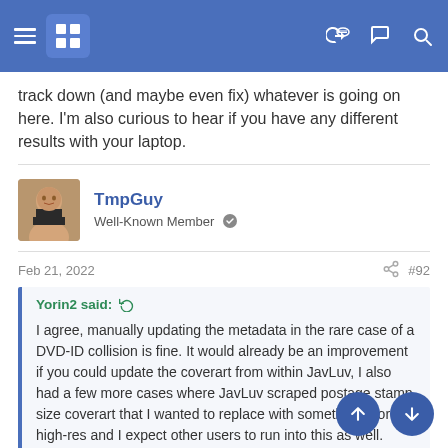Forum navigation bar with hamburger menu, logo, and icons
track down (and maybe even fix) whatever is going on here. I'm also curious to hear if you have any different results with your laptop.
TmpGuy
Well-Known Member
Feb 21, 2022  #92
Yorin2 said:
I agree, manually updating the metadata in the rare case of a DVD-ID collision is fine. It would already be an improvement if you could update the coverart from within JavLuv, I also had a few more cases where JavLuv scraped postage stamp size coverart that I wanted to replace with something more high-res and I expect other users to run into this as well.
There seems to be some issue where JavLuv is downloading very